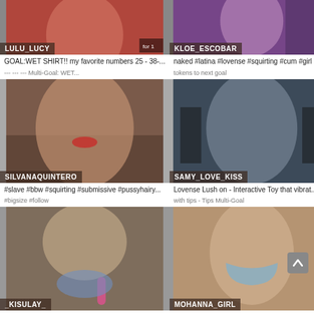[Figure (screenshot): Webcam thumbnail of LULU_LUCY with red/orange tones]
GOAL:WET SHIRT!! my favorite numbers 25 - 38-...
[Figure (screenshot): Webcam thumbnail of KLOE_ESCOBAR with pink/purple tones]
naked #latina #lovense #squirting #cum #girl [94...
[Figure (screenshot): Webcam thumbnail of SILVANAQUINTERO]
#slave #bbw #squirting #submissive #pussyhairy...
[Figure (screenshot): Webcam thumbnail of SAMY_LOVE_KISS]
Lovense Lush on - Interactive Toy that vibrat...
[Figure (screenshot): Webcam thumbnail of _KISULAY_]
Take top off [82 tokens left]
#young_ #bigass_ #shave_
[Figure (screenshot): Webcam thumbnail of MOHANNA_GIRL]
#squirt #daddy #atm
#latina #dirty #ass #dild